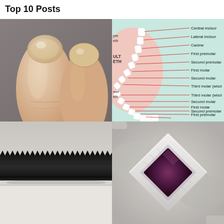Top 10 Posts
[Figure (photo): Close-up photo of two fingers showing fingernails against a grey background]
[Figure (illustration): Dental diagram showing upper and lower teeth labeled with tooth names: Central incisor, Lateral incisor, Canine, First premolar, Second premolar, First molar, Second molar, Third molar (wisdom) for both upper and lower sets]
[Figure (photo): Close-up photo of a black serrated belt or velcro strip on a light grey/white surface]
[Figure (photo): Close-up photo of a small square microchip or semiconductor on a white surface]